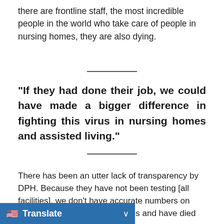there are frontline staff, the most incredible people in the world who take care of people in nursing homes, they are also dying.
“If they had done their job, we could have made a bigger difference in fighting this virus in nursing homes and assisted living.”
There has been an utter lack of transparency by DPH. Because they have not been testing [all facilities], we don’t have accurate numbers on how many people have the virus and have died from the virus. It’s a [gap] nd leadership, figuring out
[Figure (screenshot): Browser translate bar overlay at bottom of page showing US flag emoji, 'Translate' label in white on blue background, and a dropdown arrow]